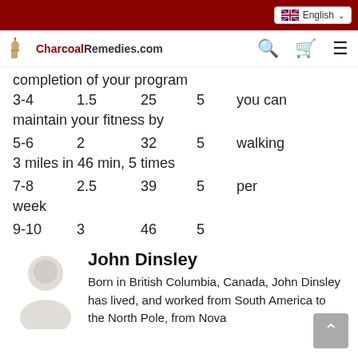CharcoalRemedies.com — English
completion of your program
| Week | Miles/day | Min | Days | Notes |
| --- | --- | --- | --- | --- |
| 3-4 | 1.5 | 25 | 5 | you can maintain your fitness by |
| 5-6 | 2 | 32 | 5 | walking 3 miles in 46 min, 5 times |
| 7-8 | 2.5 | 39 | 5 | per week |
| 9-10 | 3 | 46 | 5 |  |
John Dinsley
Born in British Columbia, Canada, John Dinsley has lived, and worked from South America to the North Pole, from Nova